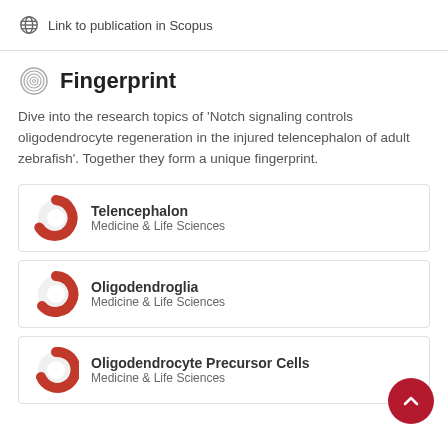Link to publication in Scopus
Fingerprint
Dive into the research topics of 'Notch signaling controls oligodendrocyte regeneration in the injured telencephalon of adult zebrafish'. Together they form a unique fingerprint.
Telencephalon
Medicine & Life Sciences
Oligodendroglia
Medicine & Life Sciences
Oligodendrocyte Precursor Cells
Medicine & Life Sciences